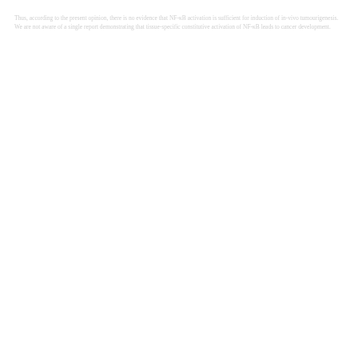Thus, according to the present opinion, there is no evidence that NF-κB activation is sufficient for induction of in-vivo tumourigenesis. We are not aware of a single report demonstrating that tissue-specific constitutive activation of NF-κB leads to cancer development.